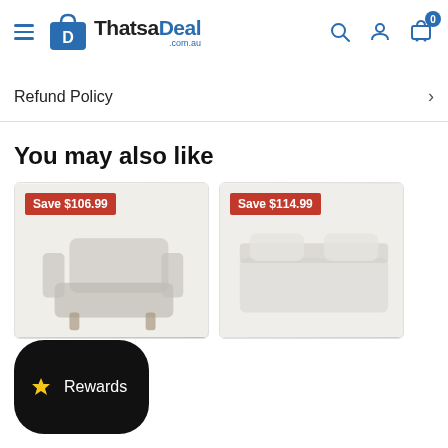ThatsaDeal .com.au — navigation header with hamburger menu, search, account, and cart icons
Refund Policy
You may also like
[Figure (photo): Product card with red 'Save $106.99' badge and a blurred photo of a sofa/couch]
[Figure (photo): Product card with red 'Save $114.99' badge and a blurred product photo]
Rewards